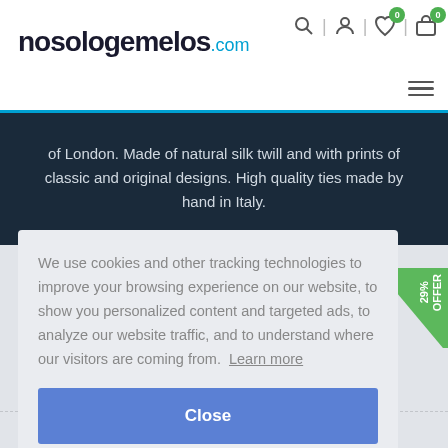[Figure (screenshot): nosologemelos.com website header with logo and navigation icons]
of London. Made of natural silk twill and with prints of classic and original designs. High quality ties made by hand in Italy.
We use cookies and other tracking technologies to improve your browsing experience on our website, to show you personalized content and targeted ads, to analyze our website traffic, and to understand where our visitors are coming from. Learn more
Close
Turquoise
With Dogs